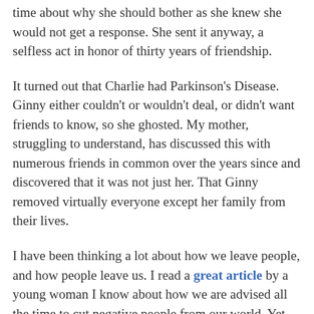time about why she should bother as she knew she would not get a response. She sent it anyway, a selfless act in honor of thirty years of friendship.
It turned out that Charlie had Parkinson's Disease. Ginny either couldn't or wouldn't deal, or didn't want friends to know, so she ghosted. My mother, struggling to understand, has discussed this with numerous friends in common over the years since and discovered that it was not just her. That Ginny removed virtually everyone except her family from their lives.
I have been thinking a lot about how we leave people, and how people leave us. I read a great article by a young woman I know about how we are advised all the time to cut negative people from our world. Yet what if it's you that's been cut out? How do you manage the rejection? I encouraged my parents to focus on the good, the amazing times they had together, and to acknowledge that their abandonment had nothing to do with them. That they could not have been better friends